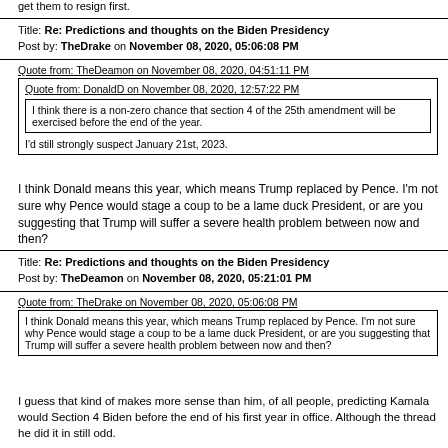get them to resign first.
Title: Re: Predictions and thoughts on the Biden Presidency
Post by: TheDrake on November 08, 2020, 05:06:08 PM
Quote from: TheDeamon on November 08, 2020, 04:51:11 PM
Quote from: DonaldD on November 08, 2020, 12:57:22 PM
I think there is a non-zero chance that section 4 of the 25th amendment will be exercised before the end of the year.
I'd still strongly suspect January 21st, 2023.
I think Donald means this year, which means Trump replaced by Pence. I'm not sure why Pence would stage a coup to be a lame duck President, or are you suggesting that Trump will suffer a severe health problem between now and then?
Title: Re: Predictions and thoughts on the Biden Presidency
Post by: TheDeamon on November 08, 2020, 05:21:01 PM
Quote from: TheDrake on November 08, 2020, 05:06:08 PM
I think Donald means this year, which means Trump replaced by Pence. I'm not sure why Pence would stage a coup to be a lame duck President, or are you suggesting that Trump will suffer a severe health problem between now and then?
I guess that kind of makes more sense than him, of all people, predicting Kamala would Section 4 Biden before the end of his first year in office. Although the thread he did it in still odd.